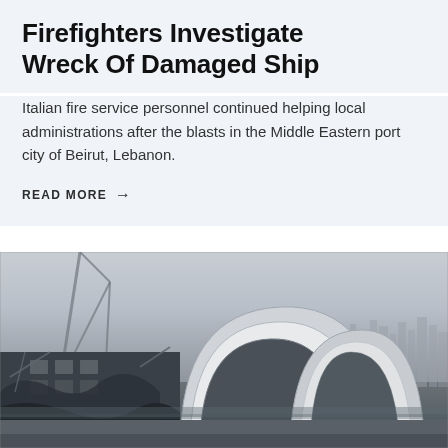Firefighters Investigate Wreck Of Damaged Ship
Italian fire service personnel continued helping local administrations after the blasts in the Middle Eastern port city of Beirut, Lebanon.
READ MORE →
[Figure (photo): Photo of a wrecked and heavily damaged ship leaning on its side at a port dock, with cranes visible in the background and a city skyline faintly visible in the misty background, taken at dusk or dawn.]